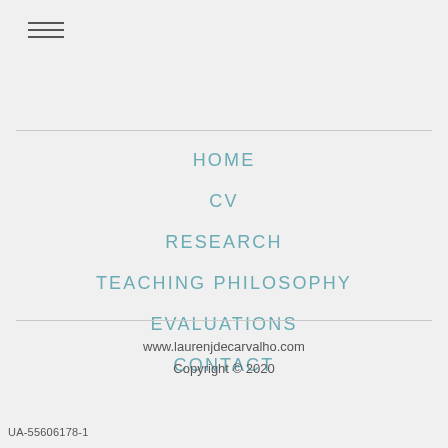[Figure (other): Hamburger menu icon with three horizontal lines]
HOME
CV
RESEARCH
TEACHING PHILOSOPHY
EVALUATIONS
CONTACT
www.laurenjdecarvalho.com
Copyright © 2020
UA-55606178-1